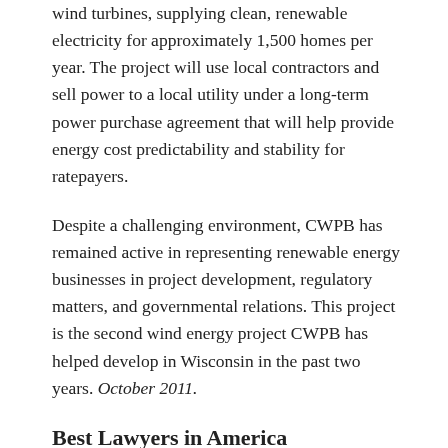The project will feature two state-of-the-art 2.0-megawatt wind turbines, supplying clean, renewable electricity for approximately 1,500 homes per year. The project will use local contractors and sell power to a local utility under a long-term power purchase agreement that will help provide energy cost predictability and stability for ratepayers.
Despite a challenging environment, CWPB has remained active in representing renewable energy businesses in project development, regulatory matters, and governmental relations. This project is the second wind energy project CWPB has helped develop in Wisconsin in the past two years. October 2011.
Best Lawyers in America
Eight of the attorneys at Pines Bach LLP — more than half — have been named to the peer-selected 2012 Best Lawyers in America listings. From Criminal Defense to Energy Law to Collaborative Divorce and Labor Law and